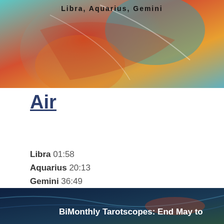[Figure (photo): Colorful abstract swirling image with text 'Libra, Aquarius, Gemini' at the top]
Air
Libra 01:58
Aquarius 20:13
Gemini 36:49
Read On...
[Figure (photo): Dark blue abstract image with text 'BiMonthly Tarotscopes: End May to']